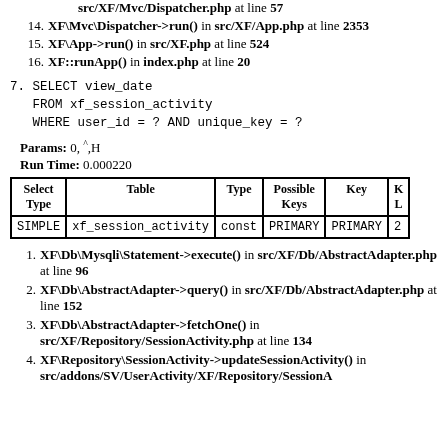src/XF/Mvc/Dispatcher.php at line 57
14. XF\Mvc\Dispatcher->run() in src/XF/App.php at line 2353
15. XF\App->run() in src/XF.php at line 524
16. XF::runApp() in index.php at line 20
7. SELECT view_date
   FROM xf_session_activity
   WHERE user_id = ? AND unique_key = ?
Params: 0, ^,H
Run Time: 0.000220
| Select Type | Table | Type | Possible Keys | Key | K... |
| --- | --- | --- | --- | --- | --- |
| SIMPLE | xf_session_activity | const | PRIMARY | PRIMARY | 2 |
1. XF\Db\Mysqli\Statement->execute() in src/XF/Db/AbstractAdapter.php at line 96
2. XF\Db\AbstractAdapter->query() in src/XF/Db/AbstractAdapter.php at line 152
3. XF\Db\AbstractAdapter->fetchOne() in src/XF/Repository/SessionActivity.php at line 134
4. XF\Repository\SessionActivity->updateSessionActivity() in src/addons/SV/UserActivity/XF/Repository/SessionA...